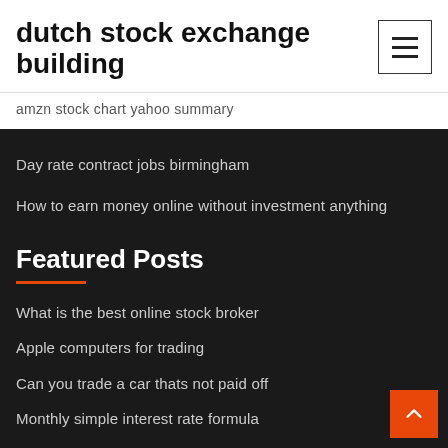dutch stock exchange building
amzn stock chart yahoo summary
Day rate contract jobs birmingham
How to earn money online without investment anything
Featured Posts
What is the best online stock broker
Apple computers for trading
Can you trade a car thats not paid off
Monthly simple interest rate formula
Gbp usd exchange rate long term forecast